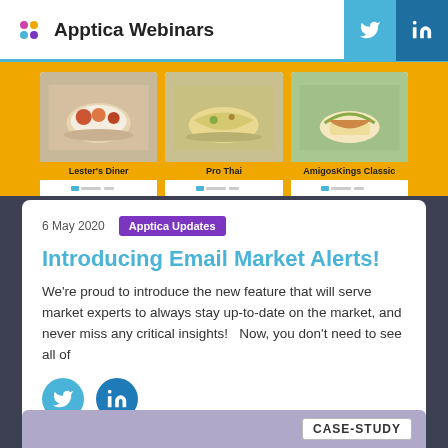Apptica Webinars
[Figure (screenshot): Food delivery app screenshot showing three restaurant cards: Lester's Diner, Pro Thai, AmigosKings Classic on a yellow/orange background]
6 May 2020
Apptica Updates
Introducing Email Market Alerts!
We're proud to introduce the new feature that will serve market experts to always stay up-to-date on the market, and never miss any critical insights!   Now, you don't need to see all of
[Figure (illustration): Twitter and LinkedIn social share buttons (circular icons)]
#Apptica Updates
CASE-STUDY